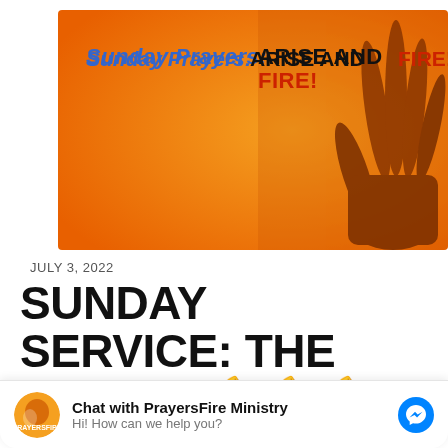[Figure (illustration): Orange hero image with praying hands silhouette on the right. Text overlay reads 'Sunday Prayers: ARISE AND FIRE!' in blue italic and bold black/red lettering.]
JULY 3, 2022
SUNDAY SERVICE: THE POWER 💪💪💪 OF SPIRITUAL SCHOLARSHIP
Chat with PrayersFire Ministry
Hi! How can we help you?